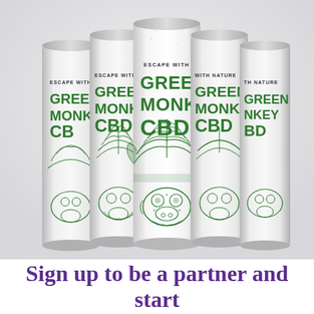[Figure (photo): Five Green Monkey CBD canned drinks arranged in a row, white cans with green text reading 'ESCAPE WITH NATURE / GREEN MONKEY CBD' and decorative green illustration of a monkey face surrounded by cannabis leaves in an ornate style.]
Sign up to be a partner and start